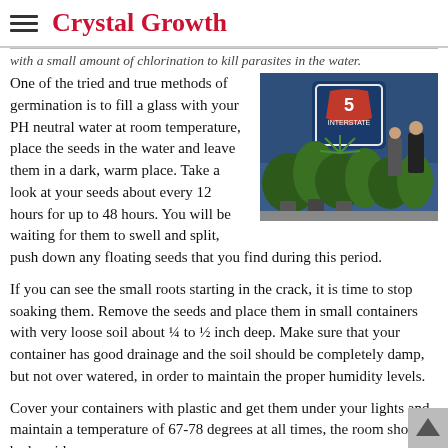Crystal Growth
with a small amount of chlorination to kill parasites in the water.
[Figure (photo): Photo of cannabis plants at what appears to be a trade show or expo, with an Interstate 5 sign visible in the background.]
One of the tried and true methods of germination is to fill a glass with your PH neutral water at room temperature, place the seeds in the water and leave them in a dark, warm place. Take a look at your seeds about every 12 hours for up to 48 hours. You will be waiting for them to swell and split, push down any floating seeds that you find during this period.
If you can see the small roots starting in the crack, it is time to stop soaking them. Remove the seeds and place them in small containers with very loose soil about ¼ to ½ inch deep. Make sure that your container has good drainage and the soil should be completely damp, but not over watered, in order to maintain the proper humidity levels.
Cover your containers with plastic and get them under your lights and maintain a temperature of 67-78 degrees at all times, the room should be humid.
Take the plastic covers off when the sprouts have grown above the soil and the first leaves start forming. Then keep your soil damp and start your